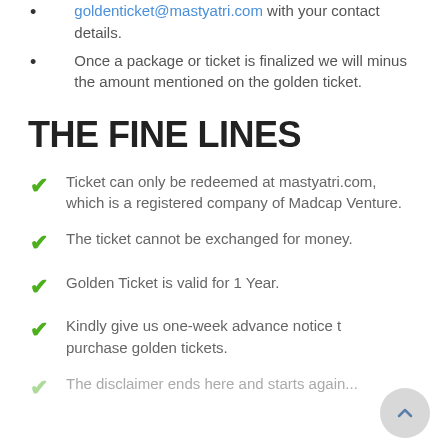goldenticket@mastyatri.com with your contact details.
Once a package or ticket is finalized we will minus the amount mentioned on the golden ticket.
THE FINE LINES
Ticket can only be redeemed at mastyatri.com, which is a registered company of Madcap Venture.
The ticket cannot be exchanged for money.
Golden Ticket is valid for 1 Year.
Kindly give us one-week advance notice to purchase golden tickets.
The disclaimer ends here and starts again...